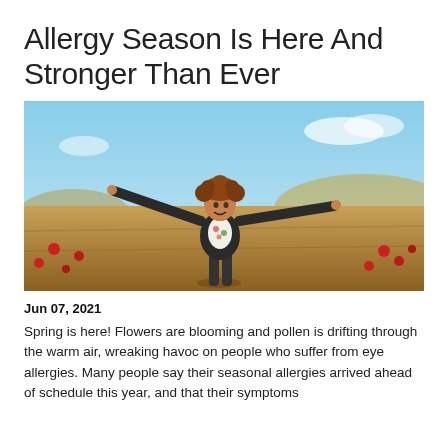Allergy Season Is Here And Stronger Than Ever
[Figure (photo): Woman with curly hair and arms outstretched standing in a field of golden grass and red poppies under a blue sky]
Jun 07, 2021
Spring is here! Flowers are blooming and pollen is drifting through the warm air, wreaking havoc on people who suffer from eye allergies. Many people say their seasonal allergies arrived ahead of schedule this year, and that their symptoms